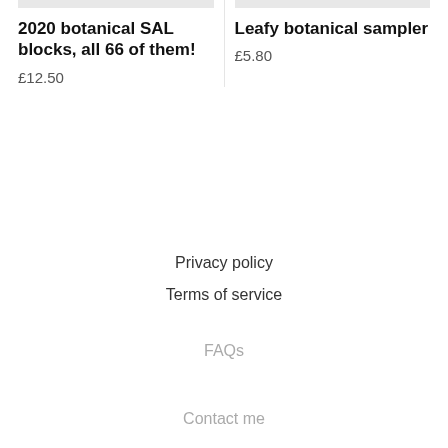2020 botanical SAL blocks, all 66 of them!
£12.50
Leafy botanical sampler
£5.80
Privacy policy
Terms of service
FAQs
Contact me